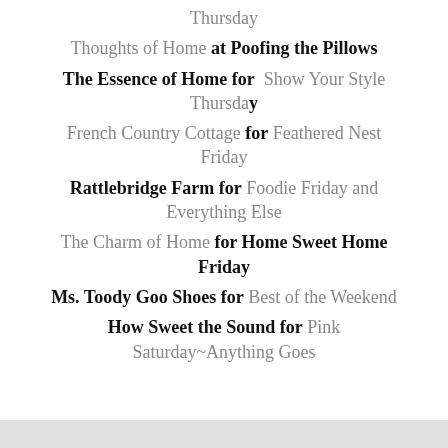Thursday
Thoughts of Home at Poofing the Pillows
The Essence of Home for Show Your Style Thursday
French Country Cottage for Feathered Nest Friday
Rattlebridge Farm for Foodie Friday and Everything Else
The Charm of Home for Home Sweet Home Friday
Ms. Toody Goo Shoes for Best of the Weekend
How Sweet the Sound for Pink Saturday~Anything Goes